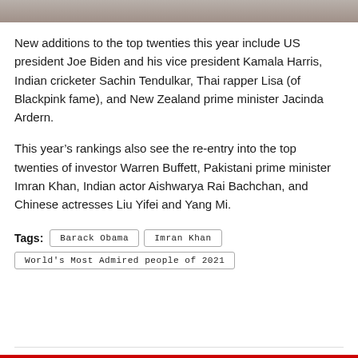[Figure (photo): Top portion of a photo showing a person, cropped at the top of the page]
New additions to the top twenties this year include US president Joe Biden and his vice president Kamala Harris, Indian cricketer Sachin Tendulkar, Thai rapper Lisa (of Blackpink fame), and New Zealand prime minister Jacinda Ardern.
This year's rankings also see the re-entry into the top twenties of investor Warren Buffett, Pakistani prime minister Imran Khan, Indian actor Aishwarya Rai Bachchan, and Chinese actresses Liu Yifei and Yang Mi.
Tags: Barack Obama  Imran Khan  World's Most Admired people of 2021